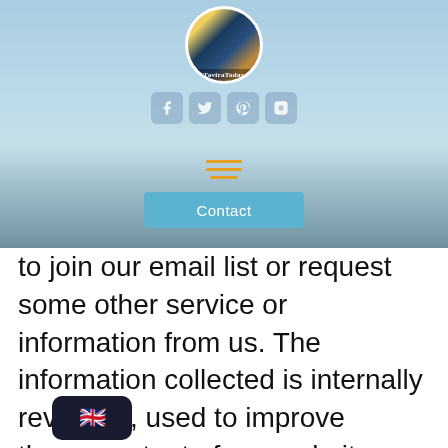[Figure (screenshot): TaviraToday website header screenshot showing logo circle with 'TaviraToday' text, social media icon buttons (Facebook, Twitter, Pinterest, Instagram), a hamburger menu icon in orange, a blue 'Contact' button, and a sky/sea background image]
to join our email list or request some other service or information from us. The information collected is internally reviewed, used to improve the content of our website, notify our